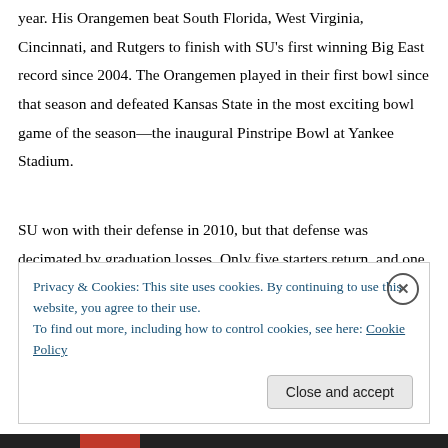year. His Orangemen beat South Florida, West Virginia, Cincinnati, and Rutgers to finish with SU's first winning Big East record since 2004. The Orangemen played in their first bowl since that season and defeated Kansas State in the most exciting bowl game of the season—the inaugural Pinstripe Bowl at Yankee Stadium.
SU won with their defense in 2010, but that defense was decimated by graduation losses. Only five starters return, and one of those will miss the first game and maybe more. All is not gloom and doom, because they get back two key players that missed most of last year.
Privacy & Cookies: This site uses cookies. By continuing to use this website, you agree to their use.
To find out more, including how to control cookies, see here: Cookie Policy
Close and accept